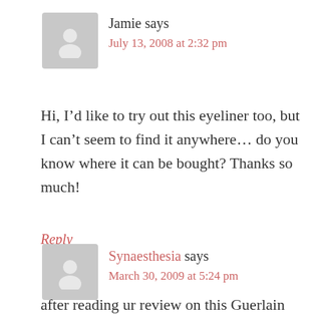Jamie says
July 13, 2008 at 2:32 pm
Hi, I’d like to try out this eyeliner too, but I can’t seem to find it anywhere… do you know where it can be bought? Thanks so much!
Reply
Synaesthesia says
March 30, 2009 at 5:24 pm
after reading ur review on this Guerlain holy